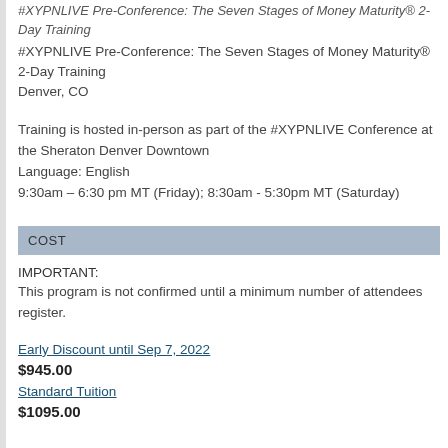#XYPNLIVE Pre-Conference: The Seven Stages of Money Maturity® 2-Day Training (italic)
#XYPNLIVE Pre-Conference: The Seven Stages of Money Maturity® 2-Day Training
Denver, CO
Training is hosted in-person as part of the #XYPNLIVE Conference at the Sheraton Denver Downtown
Language: English
9:30am – 6:30 pm MT (Friday); 8:30am - 5:30pm MT (Saturday)
COST
IMPORTANT:
This program is not confirmed until a minimum number of attendees register.
Early Discount until Sep 7, 2022
$945.00
Standard Tuition
$1095.00